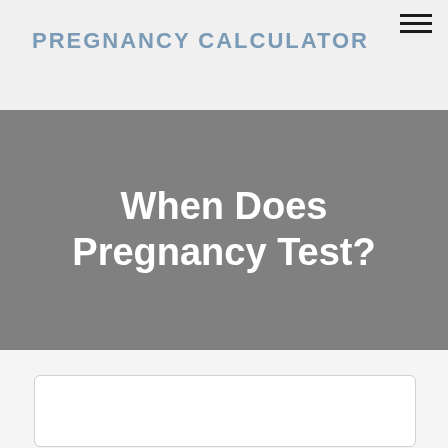PREGNANCY CALCULATOR
When Does Pregnancy Test?
[Figure (other): White rounded rectangle content box placeholder]